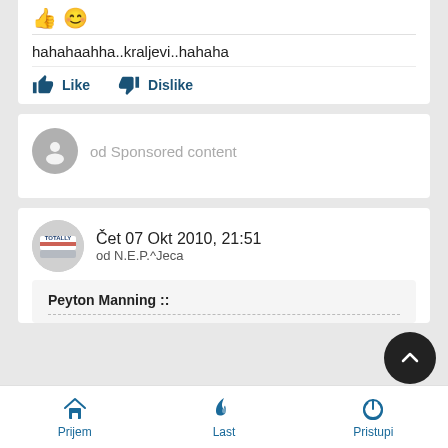hahahaahha..kraljevi..hahaha
Like  Dislike
od Sponsored content
Čet 07 Okt 2010, 21:51
od N.E.P.^Jeca
Peyton Manning ::
Prijem  Last  Pristupi